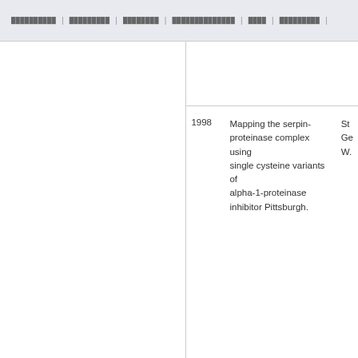██████████ | █████████ | ████████ | ██████████████ | ████ | █████████
| Year | Title | Authors |
| --- | --- | --- |
| 1998 | Mapping the serpin-proteinase complex using single cysteine variants of alpha-1-proteinase inhibitor Pittsburgh. | St... Ge... W... |